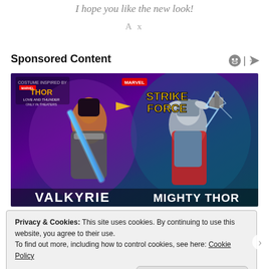I hope you like the new look!
A x
Sponsored Content
[Figure (illustration): Marvel Strike Force advertisement featuring Valkyrie and Mighty Thor characters. Valkyrie is on the left holding a blue sword, Mighty Thor is on the right with a hammer. Both are set against a purple and teal background. The Marvel and Strike Force logos appear at top. 'Valkyrie' text appears at bottom left, 'Mighty Thor' at bottom right. Thor Love and Thunder movie logo is visible at top left.]
Privacy & Cookies: This site uses cookies. By continuing to use this website, you agree to their use.
To find out more, including how to control cookies, see here: Cookie Policy
Close and accept